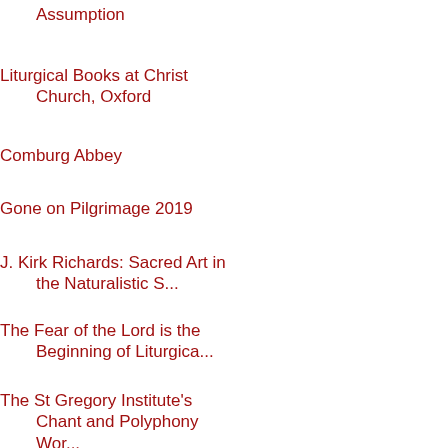Assumption
Liturgical Books at Christ Church, Oxford
Comburg Abbey
Gone on Pilgrimage 2019
J. Kirk Richards: Sacred Art in the Naturalistic S...
The Fear of the Lord is the Beginning of Liturgica...
The St Gregory Institute's Chant and Polyphony Wor...
The Abbey of St Augustine in Żagań, Poland
Brian Holdsworth on Unbelief in the Real Presence
The Blessing of Flowers and Herbs on the Assumption